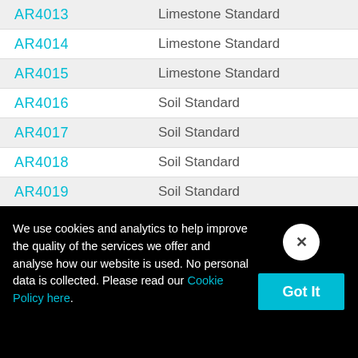| Code | Description |
| --- | --- |
| AR4013 | Limestone Standard |
| AR4014 | Limestone Standard |
| AR4015 | Limestone Standard |
| AR4016 | Soil Standard |
| AR4017 | Soil Standard |
| AR4018 | Soil Standard |
| AR4019 | Soil Standard |
| AR402 | Quartz Glass Products |
| AR4020 | Soil Standard |
We use cookies and analytics to help improve the quality of the services we offer and analyse how our website is used. No personal data is collected. Please read our Cookie Policy here.